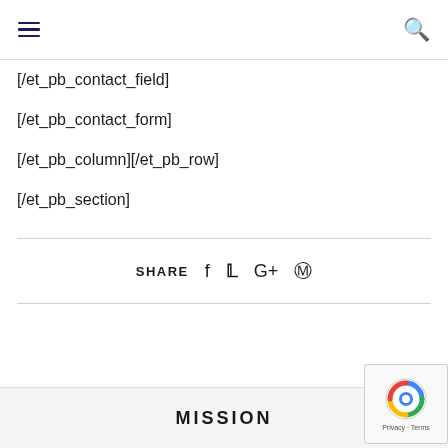Navigation header with hamburger menu and search icon
[/et_pb_contact_field]
[/et_pb_contact_form]
[/et_pb_column][/et_pb_row]
[/et_pb_section]
SHARE  f  t  G+  p
MISSION